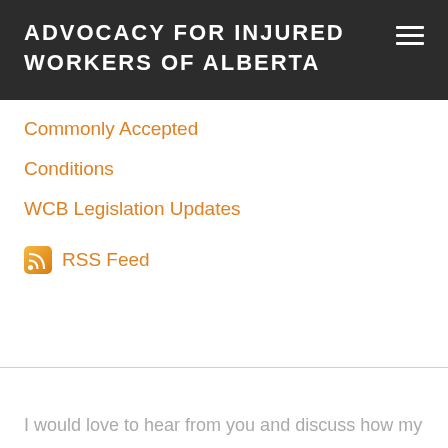ADVOCACY FOR INJURED WORKERS OF ALBERTA
Commonly Accepted
Conditions
WCB Legislation Updates
RSS Feed
I would love to hear from you and discuss how my